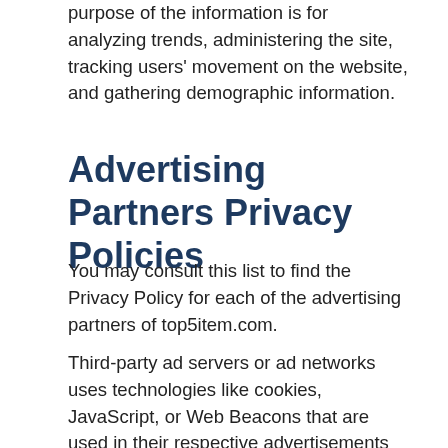purpose of the information is for analyzing trends, administering the site, tracking users' movement on the website, and gathering demographic information.
Advertising Partners Privacy Policies
You may consult this list to find the Privacy Policy for each of the advertising partners of top5item.com.
Third-party ad servers or ad networks uses technologies like cookies, JavaScript, or Web Beacons that are used in their respective advertisements and links that appear on top5item.com, which are sent directly to users' browser. They automatically receive your IP